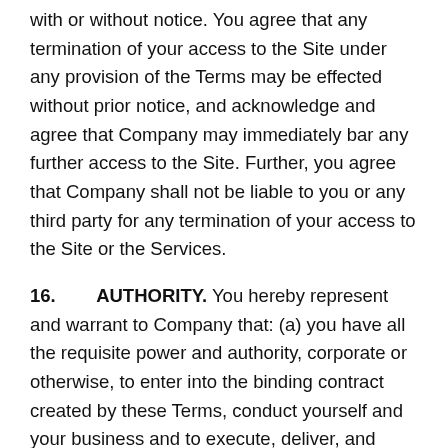with or without notice. You agree that any termination of your access to the Site under any provision of the Terms may be effected without prior notice, and acknowledge and agree that Company may immediately bar any further access to the Site. Further, you agree that Company shall not be liable to you or any third party for any termination of your access to the Site or the Services.
16. AUTHORITY. You hereby represent and warrant to Company that: (a) you have all the requisite power and authority, corporate or otherwise, to enter into the binding contract created by these Terms, conduct yourself and your business and to execute, deliver, and perform all of your obligations under this Agreement; (b) you have the